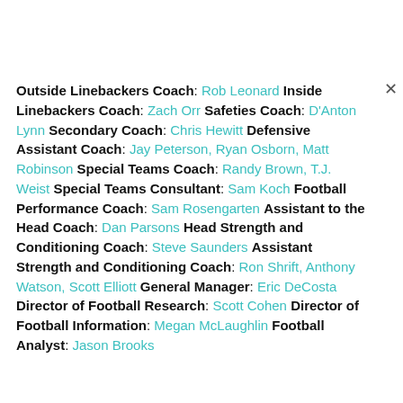Outside Linebackers Coach: Rob Leonard Inside Linebackers Coach: Zach Orr Safeties Coach: D'Anton Lynn Secondary Coach: Chris Hewitt Defensive Assistant Coach: Jay Peterson, Ryan Osborn, Matt Robinson Special Teams Coach: Randy Brown, T.J. Weist Special Teams Consultant: Sam Koch Football Performance Coach: Sam Rosengarten Assistant to the Head Coach: Dan Parsons Head Strength and Conditioning Coach: Steve Saunders Assistant Strength and Conditioning Coach: Ron Shrift, Anthony Watson, Scott Elliott General Manager: Eric DeCosta Director of Football Research: Scott Cohen Director of Football Information: Megan McLaughlin Football Analyst: Jason Brooks